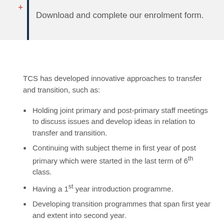Download and complete our enrolment form.
TCS has developed innovative approaches to transfer and transition, such as:
Holding joint primary and post-primary staff meetings to discuss issues and develop ideas in relation to transfer and transition.
Continuing with subject theme in first year of post primary which were started in the last term of 6th class.
Having a 1st year introduction programme.
Developing transition programmes that span first year and extent into second year.
Explicitly teaching social and emotional literacy